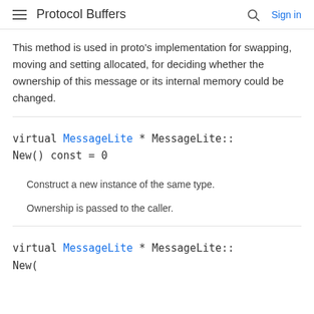Protocol Buffers   Sign in
This method is used in proto's implementation for swapping, moving and setting allocated, for deciding whether the ownership of this message or its internal memory could be changed.
virtual MessageLite * MessageLite::New() const = 0
Construct a new instance of the same type.
Ownership is passed to the caller.
virtual MessageLite * MessageLite::New(